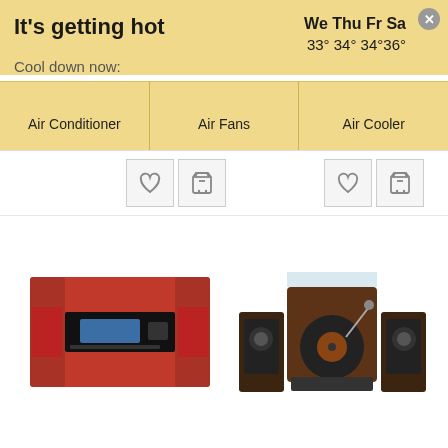It's getting hot
We Thu Fr  Sa
33° 34° 34°36°
Cool down now:
Air Conditioner
Air Fans
Air Cooler
[Figure (photo): Wishlist (heart) and shopping cart icon buttons]
[Figure (photo): Wishlist (heart) and shopping cart icon buttons (right side)]
[Figure (photo): Red wall-mounted stereo system / CD player (auna brand)]
[Figure (photo): Brown retro turntable / record player with speakers (auna brand)]